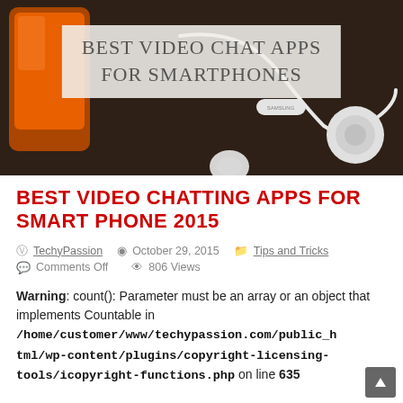[Figure (photo): Hero image showing a Samsung smartphone and white earphones/earbuds on a dark wooden surface, with overlaid text 'BEST VIDEO CHAT APPS FOR SMARTPHONES']
BEST VIDEO CHATTING APPS FOR SMART PHONE 2015
TechyPassion  October 29, 2015  Tips and Tricks  Comments Off  806 Views
Warning: count(): Parameter must be an array or an object that implements Countable in /home/customer/www/techypassion.com/public_html/wp-content/plugins/copyright-licensing-tools/icopyright-functions.php on line 635